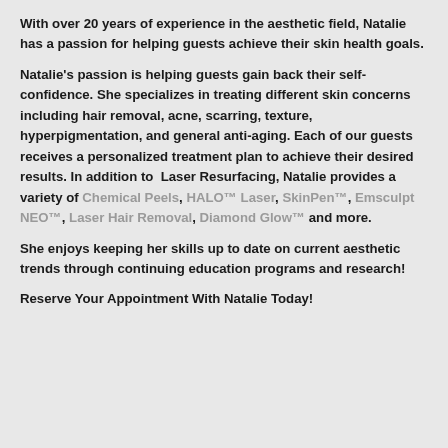With over 20 years of experience in the aesthetic field, Natalie has a passion for helping guests achieve their skin health goals.
Natalie's passion is helping guests gain back their self-confidence. She specializes in treating different skin concerns including hair removal, acne, scarring, texture, hyperpigmentation, and general anti-aging. Each of our guests receives a personalized treatment plan to achieve their desired results. In addition to Laser Resurfacing, Natalie provides a variety of Chemical Peels, HALO™ Laser, SkinPen™, Emsculpt NEO™, Laser Hair Removal, Diamond Glow™ and more.
She enjoys keeping her skills up to date on current aesthetic trends through continuing education programs and research!
Reserve Your Appointment With Natalie Today!